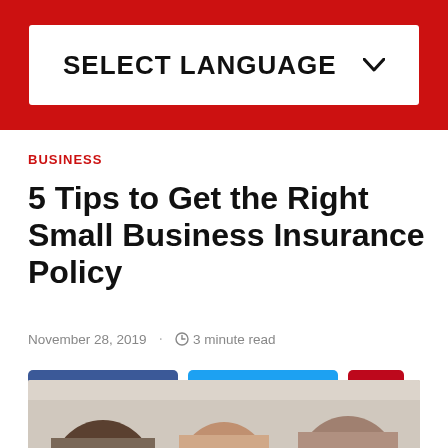SELECT LANGUAGE ∨
BUSINESS
5 Tips to Get the Right Small Business Insurance Policy
November 28, 2019 · 3 minute read
SHARE  TWEET  [Pinterest]
[Figure (photo): Photo showing people in business attire, partially cropped at bottom of page]